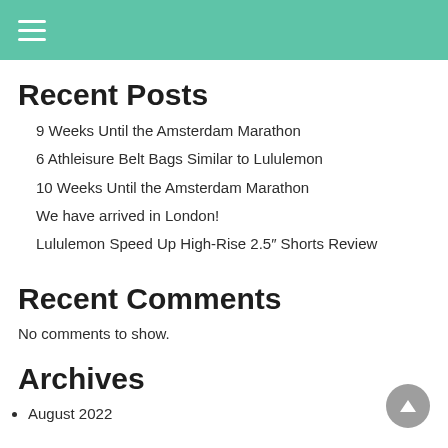Navigation menu header bar
Recent Posts
9 Weeks Until the Amsterdam Marathon
6 Athleisure Belt Bags Similar to Lululemon
10 Weeks Until the Amsterdam Marathon
We have arrived in London!
Lululemon Speed Up High-Rise 2.5" Shorts Review
Recent Comments
No comments to show.
Archives
August 2022